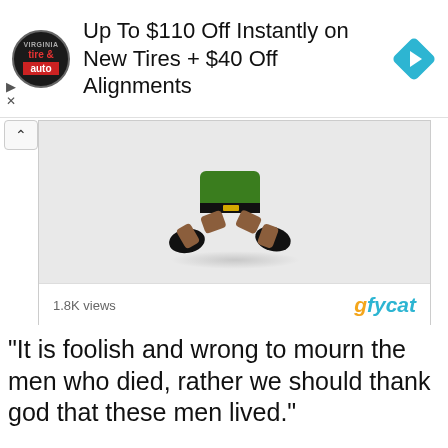[Figure (screenshot): Advertisement banner for tire & auto service: 'Up To $110 Off Instantly on New Tires + $40 Off Alignments' with tire & auto logo and navigation arrow icon]
[Figure (screenshot): Gfycat embedded video card showing animated leprechaun figure running, with '1.8K views' and gfycat branding]
“It is foolish and wrong to mourn the men who died, rather we should thank god that these men lived.”